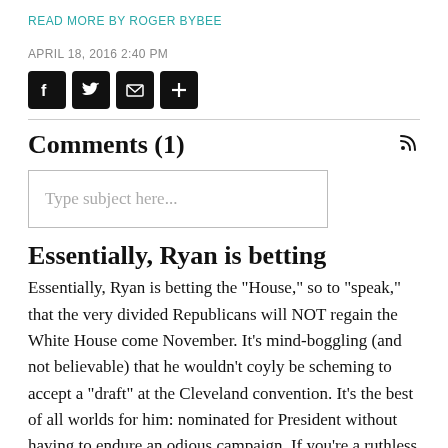READ MORE BY ROGER BYBEE
APRIL 18, 2016 2:40 PM
[Figure (other): Social sharing icons: Facebook, Twitter, Email, More (plus sign)]
Comments (1)
Type subject here...
Essentially, Ryan is betting
Essentially, Ryan is betting the "House," so to "speak," that the very divided Republicans will NOT regain the White House come November. It's mind-boggling (and not believable) that he wouldn't coyly be scheming to accept a "draft" at the Cleveland convention. It's the best of all worlds for him: nominated for President without having to endure an odious campaign. If you're a ruthless